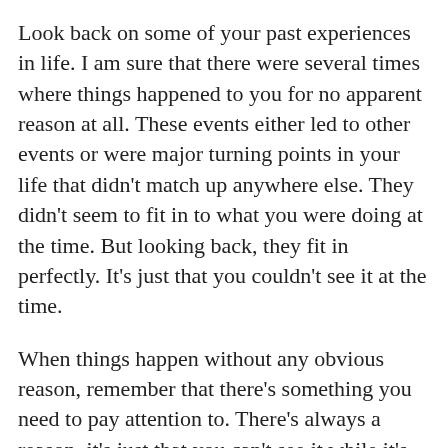Look back on some of your past experiences in life. I am sure that there were several times where things happened to you for no apparent reason at all. These events either led to other events or were major turning points in your life that didn't match up anywhere else. They didn't seem to fit in to what you were doing at the time. But looking back, they fit in perfectly. It's just that you couldn't see it at the time.
When things happen without any obvious reason, remember that there's something you need to pay attention to. There's always a reason, it's just that you can't see it while it's happening. There's an unseen force that's always pointing you in the right direction whether you notice it or not. And those unreal experiences, those strange synchronicities - things happening by 'chance' are usually a push in the direction you want (or didn't know you wanted) to go. Just follow the flow and say thanks - whether it's a computer program that you get to try out for free or it's a book you've